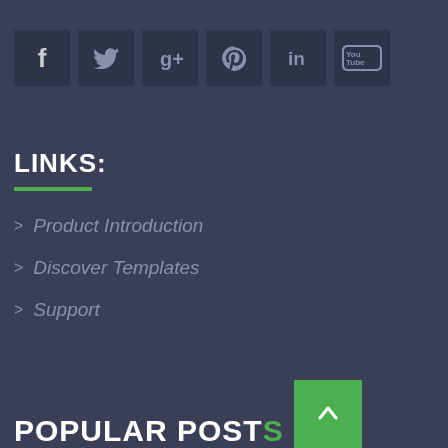[Figure (infographic): Row of 6 social media icon buttons (Facebook, Twitter, Google+, Pinterest, LinkedIn, YouTube) on dark background]
LINKS:
Product Introduction
Discover Templates
Support
POPULAR POSTS